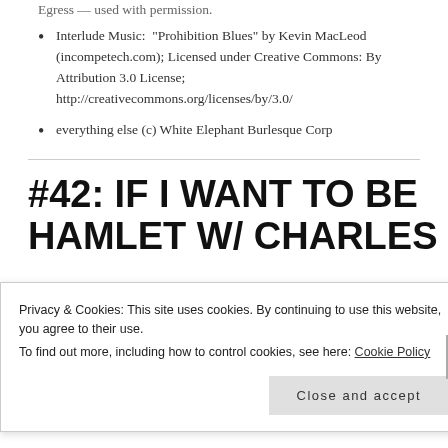Egress — used with permission.
Interlude Music: “Prohibition Blues” by Kevin MacLeod (incompetech.com); Licensed under Creative Commons: By Attribution 3.0 License; http://creativecommons.org/licenses/by/3.0/
everything else (c) White Elephant Burlesque Corp
#42: IF I WANT TO BE HAMLET W/ CHARLES
Privacy & Cookies: This site uses cookies. By continuing to use this website, you agree to their use.
To find out more, including how to control cookies, see here: Cookie Policy
Close and accept